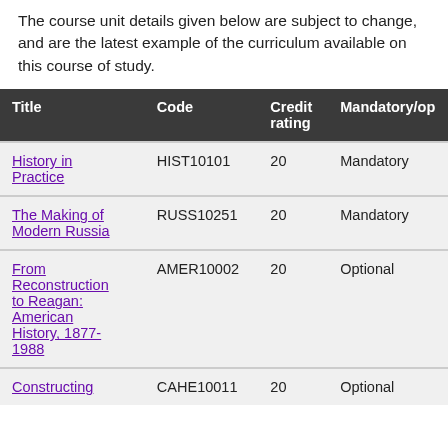The course unit details given below are subject to change, and are the latest example of the curriculum available on this course of study.
| Title | Code | Credit rating | Mandatory/op |
| --- | --- | --- | --- |
| History in Practice | HIST10101 | 20 | Mandatory |
| The Making of Modern Russia | RUSS10251 | 20 | Mandatory |
| From Reconstruction to Reagan: American History, 1877-1988 | AMER10002 | 20 | Optional |
| Constructing | CAHE10011 | 20 | Optional |